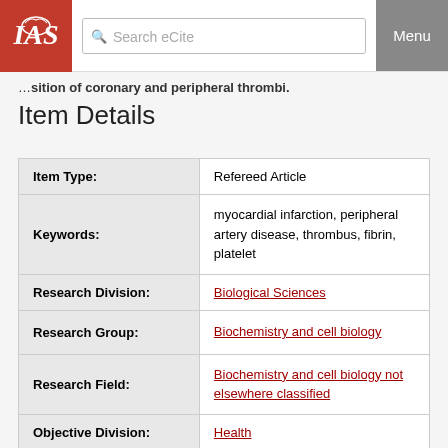Search eCite | Menu
…position of coronary and peripheral thrombi.
Item Details
| Field | Value |
| --- | --- |
| Item Type: | Refereed Article |
| Keywords: | myocardial infarction, peripheral artery disease, thrombus, fibrin, platelet |
| Research Division: | Biological Sciences |
| Research Group: | Biochemistry and cell biology |
| Research Field: | Biochemistry and cell biology not elsewhere classified |
| Objective Division: | Health |